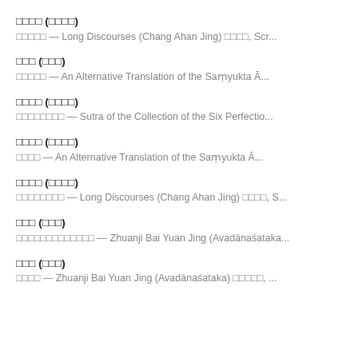□□□□ (□□□□)
□□□□□ — Long Discourses (Chang Ahan Jing) □□□□, Scr...
□□□ (□□□)
□□□□□ — An Alternative Translation of the Saṃyukta Ā...
□□□□ (□□□□)
□□□□□□□□ — Sutra of the Collection of the Six Perfectio...
□□□□ (□□□□)
□□□□ — An Alternative Translation of the Saṃyukta Ā...
□□□□ (□□□□)
□□□□□□□□ — Long Discourses (Chang Ahan Jing) □□□□, S...
□□□ (□□□)
□□□□□□□□□□□□□ — Zhuanji Bai Yuan Jing (Avadānaśataka...
□□□ (□□□)
□□□□ — Zhuanji Bai Yuan Jing (Avadānaśataka) □□□□□, ...